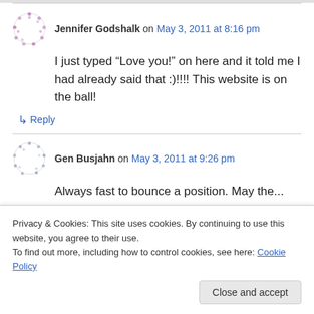Jennifer Godshalk on May 3, 2011 at 8:16 pm
I just typed “Love you!” on here and it told me I had already said that :)!!!! This website is on the ball!
↵ Reply
Gen Busjahn on May 3, 2011 at 9:26 pm
Privacy & Cookies: This site uses cookies. By continuing to use this website, you agree to their use.
To find out more, including how to control cookies, see here: Cookie Policy
Close and accept